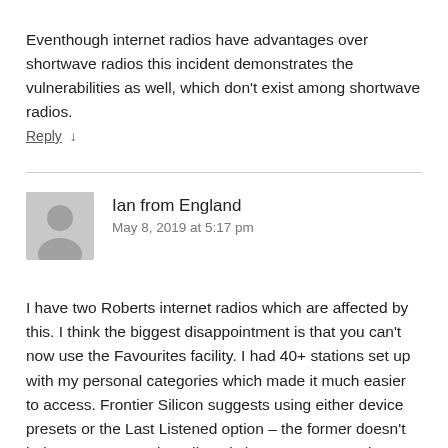Eventhough internet radios have advantages over shortwave radios this incident demonstrates the vulnerabilities as well, which don't exist among shortwave radios.
Reply ↓
Ian from England
May 8, 2019 at 5:17 pm
I have two Roberts internet radios which are affected by this. I think the biggest disappointment is that you can't now use the Favourites facility. I had 40+ stations set up with my personal categories which made it much easier to access. Frontier Silicon suggests using either device presets or the Last Listened option – the former doesn't help me, as my main radio only has 5 presets on the front, and the latter